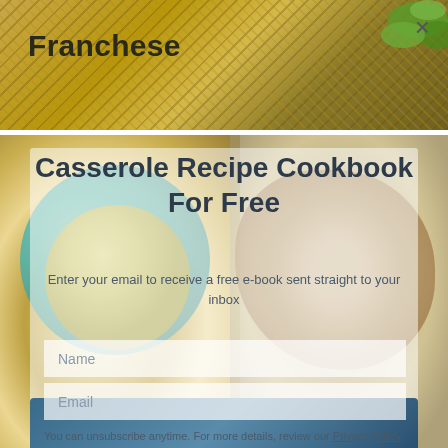Franchese
[Figure (photo): Food photo banner showing noodles/pasta dish at top with green herbs, and bowl with chicken/food in background]
Casserole Recipe Cookbook For Free
Enter your email to receive a free e-book sent straight to your inbox
Name
Email
You can unsubscribe anytime. For more details, review our Privacy Policy